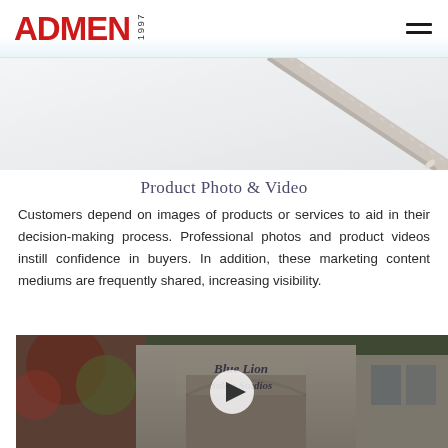ADMEN 1997
[Figure (photo): Close-up image of a pencil or pen on a light background, showing the tip and spiral binding]
Product Photo & Video
Customers depend on images of products or services to aid in their decision-making process. Professional photos and product videos instill confidence in buyers. In addition, these marketing content mediums are frequently shared, increasing visibility.
[Figure (screenshot): Video thumbnail showing a storefront with sign reading 'Blue Lion Salon Studios' with a play button overlay in the center]